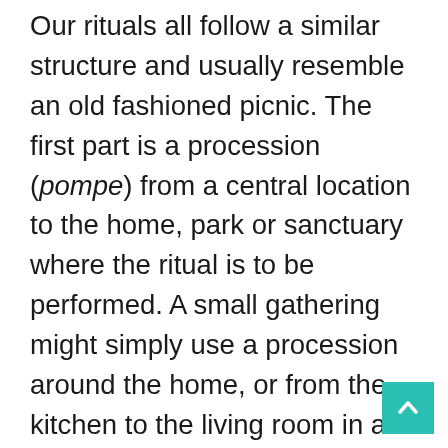Our rituals all follow a similar structure and usually resemble an old fashioned picnic. The first part is a procession (pompe) from a central location to the home, park or sanctuary where the ritual is to be performed. A small gathering might simply use a procession around the home, or from the kitchen to the living room in an apartment, for example. At the entrance to the ritual area, we purify ourselves by washing our hands in saltwater. Then we do our opening libations by drinking a little wine (or grape juice) mixed with spring water and then pouring a little on the ground. Opening libations start with a libation to Hestia, followed by libations to one or more honored Olympians, followed by a libation the Olympians as a group. Next the sacrifice is